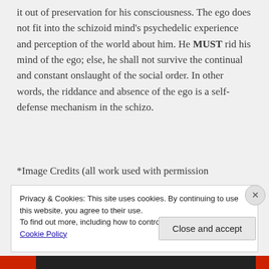it out of preservation for his consciousness. The ego does not fit into the schizoid mind's psychedelic experience and perception of the world about him. He MUST rid his mind of the ego; else, he shall not survive the continual and constant onslaught of the social order. In other words, the riddance and absence of the ego is a self-defense mechanism in the schizo.
*Image Credits (all work used with permission
Privacy & Cookies: This site uses cookies. By continuing to use this website, you agree to their use.
To find out more, including how to control cookies, see here: Cookie Policy
Close and accept